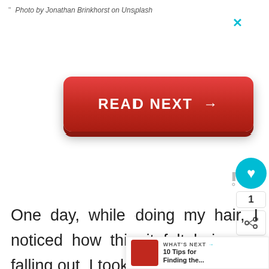" Photo by Jonathan Brinkhorst on Unsplash
[Figure (screenshot): Red READ NEXT button with arrow, and a close X button in teal]
[Figure (screenshot): Floating UI panel with teal heart button, count of 1, and share button]
One day, while doing my hair, I noticed how thin it felt hair was falling out. I took a
[Figure (screenshot): What's Next bar showing '10 Tips for Finding the...' with thumbnail]